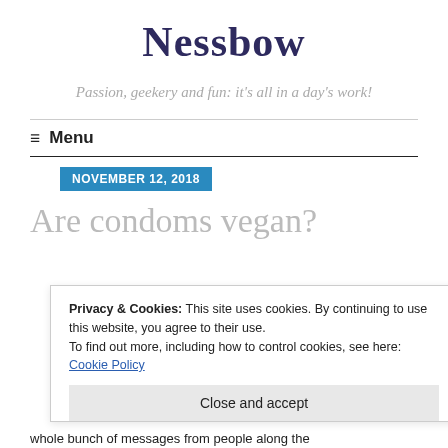Nessbow
Passion, geekery and fun: it's all in a day's work!
≡ Menu
NOVEMBER 12, 2018
Are condoms vegan?
Privacy & Cookies: This site uses cookies. By continuing to use this website, you agree to their use.
To find out more, including how to control cookies, see here: Cookie Policy
Close and accept
whole bunch of messages from people along the